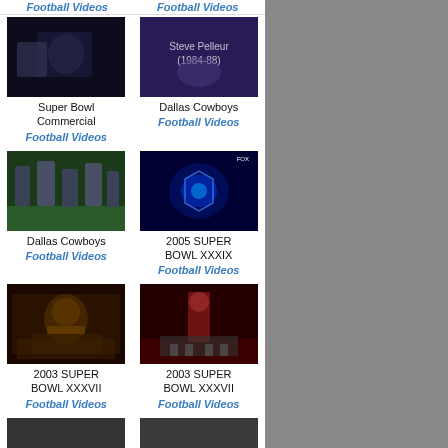Football Videos | Football Videos
[Figure (photo): Super Bowl Commercial video thumbnail - dark scene with person near vehicle]
Super Bowl Commercial
Football Videos
[Figure (photo): Dallas Cowboys video thumbnail - Steve Pelleur (1984-88)]
Dallas Cowboys
Football Videos
[Figure (photo): Dallas Cowboys video thumbnail - football field action shot]
Dallas Cowboys
Football Videos
[Figure (photo): 2005 Super Bowl XXXIX video thumbnail - dark blue eagle graphic]
2005 SUPER BOWL XXXIX
Football Videos
[Figure (photo): 2003 Super Bowl XXXVII video thumbnail - man in suit at desk]
2003 SUPER BOWL XXXVII
Football Videos
[Figure (photo): 2003 Super Bowl XXXVII video thumbnail - player standing on field]
2003 SUPER BOWL XXXVII
Football Videos
[Figure (photo): Additional video thumbnail - dark]
[Figure (photo): Additional video thumbnail - dark]